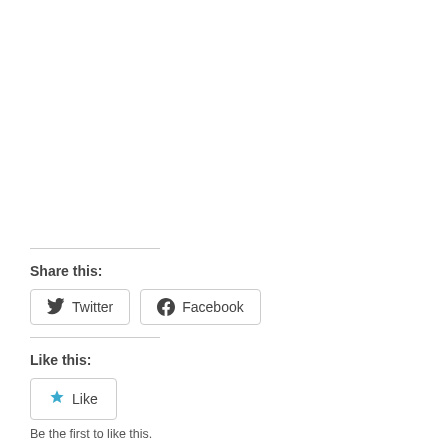Share this:
[Figure (other): Twitter and Facebook share buttons with icons and rounded borders]
Like this:
[Figure (other): Like button with blue star icon and rounded border]
Be the first to like this.